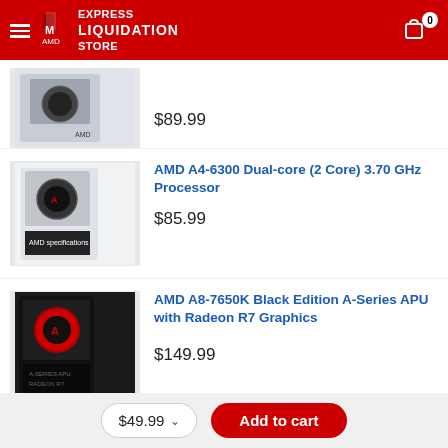EXPRESS LIQUIDATION STORE
[Figure (photo): AMD processor product box, partially visible at top]
$89.99
AMD A4-6300 Dual-core (2 Core) 3.70 GHz Processor
[Figure (photo): AMD A4-6300 processor product box]
$85.99
AMD A8-7650K Black Edition A-Series APU with Radeon R7 Graphics
[Figure (photo): AMD A8-7650K Black Edition processor box]
$149.99
$49.99 ∨  Add to cart